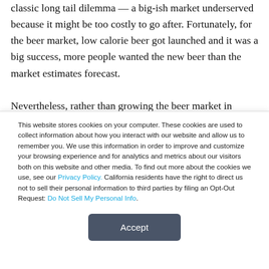classic long tail dilemma — a big-ish market underserved because it might be too costly to go after. Fortunately, for the beer market, low calorie beer got launched and it was a big success, more people wanted the new beer than the market estimates forecast.

Nevertheless, rather than growing the beer market in absolute terms, the introduction merely fragmented it — where a beer
This website stores cookies on your computer. These cookies are used to collect information about how you interact with our website and allow us to remember you. We use this information in order to improve and customize your browsing experience and for analytics and metrics about our visitors both on this website and other media. To find out more about the cookies we use, see our Privacy Policy. California residents have the right to direct us not to sell their personal information to third parties by filing an Opt-Out Request: Do Not Sell My Personal Info.